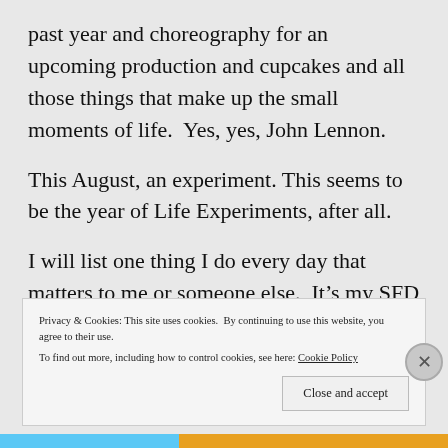past year and choreography for an upcoming production and cupcakes and all those things that make up the small moments of life.  Yes, yes, John Lennon.
This August, an experiment. This seems to be the year of Life Experiments, after all.
I will list one thing I do every day that matters to me or someone else.  It’s my SFD (as opposed
Privacy & Cookies: This site uses cookies.  By continuing to use this website, you agree to their use.
To find out more, including how to control cookies, see here: Cookie Policy
Close and accept